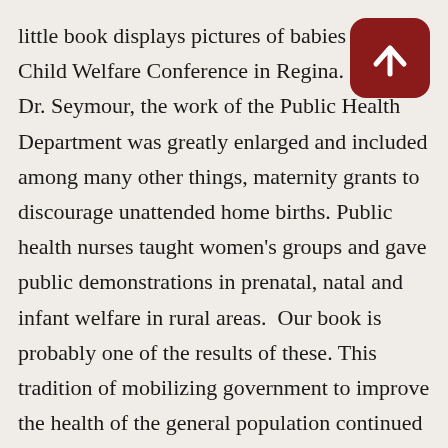little book displays pictures of babies from a Child Welfare Conference in Regina. Under Dr. Seymour, the work of the Public Health Department was greatly enlarged and included among many other things, maternity grants to discourage unattended home births. Public health nurses taught women's groups and gave public demonstrations in prenatal, natal and infant welfare in rural areas. Our book is probably one of the results of these. This tradition of mobilizing government to improve the health of the general population continued through the depression and the Second World War and eventually, in 1962 to the Medical Insurance Act. The federal government enacted medical care legislation in 1968 and by 1972 all provincial and
[Figure (other): A dark red rounded square button with an upward-pointing arrow icon, used as a navigation element to scroll up.]